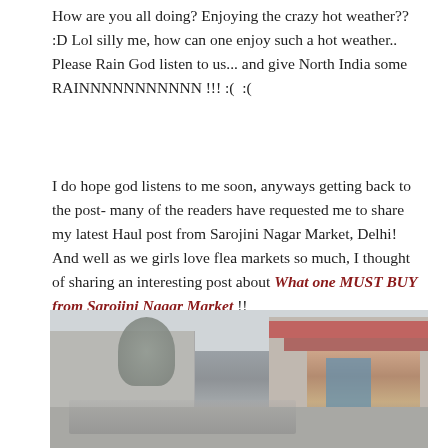How are you all doing? Enjoying the crazy hot weather?? :D Lol silly me, how can one enjoy such a hot weather..
Please Rain God listen to us... and give North India some RAINNNNNNNNNNN !!! :(  :(
I do hope god listens to me soon, anyways getting back to the post- many of the readers have requested me to share my latest Haul post from Sarojini Nagar Market, Delhi! And well as we girls love flea markets so much, I thought of sharing an interesting post about What one MUST BUY from Sarojini Nagar Market !!
[Figure (photo): Street view of Sarojini Nagar Market in Delhi showing a crowded market lane with buildings on both sides, colorful clothes hanging on the right side stalls, a tree visible on the left, and shoppers in the street. The image has a faded, washed-out appearance.]